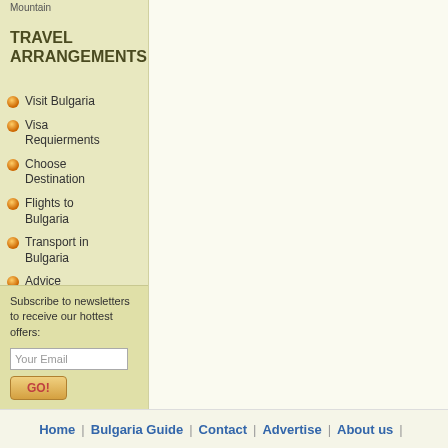Mountain
TRAVEL ARRANGEMENTS
Visit Bulgaria
Visa Requierments
Choose Destination
Flights to Bulgaria
Transport in Bulgaria
Advice
Currency
Official Holidays
Subscribe to newsletters to receive our hottest offers:
Home | Bulgaria Guide | Contact | Advertise | About us |